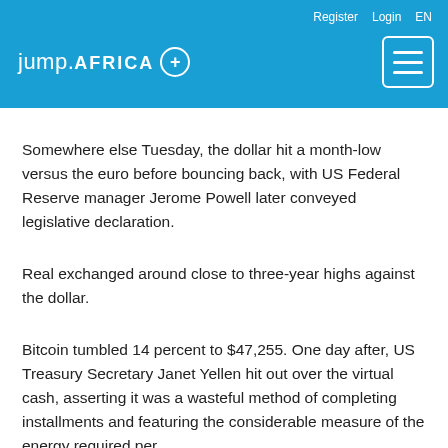jump.AFRICA + | Register Login EN
Somewhere else Tuesday, the dollar hit a month-low versus the euro before bouncing back, with US Federal Reserve manager Jerome Powell later conveyed legislative declaration.
Real exchanged around close to three-year highs against the dollar.
Bitcoin tumbled 14 percent to $47,255. One day after, US Treasury Secretary Janet Yellen hit out over the virtual cash, asserting it was a wasteful method of completing installments and featuring the considerable measure of the energy required per